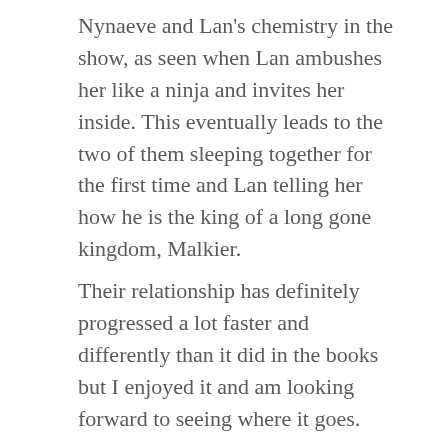Nynaeve and Lan's chemistry in the show, as seen when Lan ambushes her like a ninja and invites her inside. This eventually leads to the two of them sleeping together for the first time and Lan telling her how he is the king of a long gone kingdom, Malkier.
Their relationship has definitely progressed a lot faster and differently than it did in the books but I enjoyed it and am looking forward to seeing where it goes.
Then, we get the big moment of the episode: the reveal of the Dragon Reborn.
After reconciling with Egwene and sleeping with her, Rand returns outside and begins to accept that he is the one destined to fight the Dark One.
We see that he really did channel when he broke down the ironwood door in episode three, and when he saved